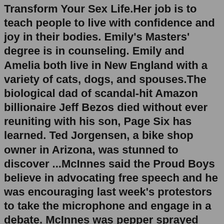Transform Your Sex Life.Her job is to teach people to live with confidence and joy in their bodies. Emily's Masters' degree is in counseling. Emily and Amelia both live in New England with a variety of cats, dogs, and spouses.The biological dad of scandal-hit Amazon billionaire Jeff Bezos died without ever reuniting with his son, Page Six has learned. Ted Jorgensen, a bike shop owner in Arizona, was stunned to discover ...McInnes said the Proud Boys believe in advocating free speech and he was encouraging last week's protestors to take the microphone and engage in a debate. McInnes was pepper sprayed during the ...SOX PARK — Last fall, podcaster Jake Mintz made a bold and ultimately dead-wrong declaration about the White Sox hiring Tony La Russa. The Sox would never, ever rehire the retired, 76-year-old manager, Mintz insisted on his popular "Cespedes Family BBQ" podcast. And if they did, he would walk from his home in New York City to Chicago.The bizarre disappearance of Heidi Planck. by Liv. February 14, 2022. California. Heidi Planck was a 39